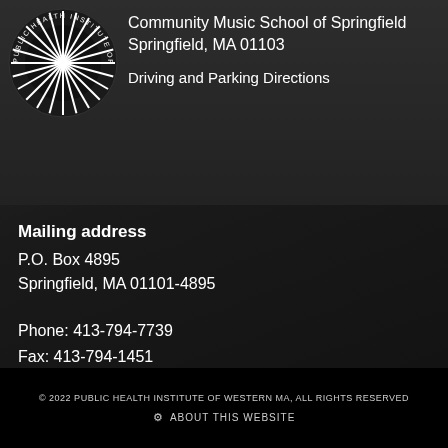[Figure (logo): Circular seal/logo of Public Health Institute of Western Massachusetts with radiating lines pattern]
Community Music School of Springfield
Springfield, MA 01103
Driving and Parking Directions
Mailing address
P.O. Box 4895
Springfield, MA 01101-4895
Phone: 413-794-7739
Fax: 413-794-1451
Email: info@publichealthwm.org
[Figure (other): Orange back-to-top button with upward chevron arrow]
© 2022 PUBLIC HEALTH INSTITUTE OF WESTERN MA, ALL RIGHTS RESERVED
⚙ ABOUT THIS WEBSITE